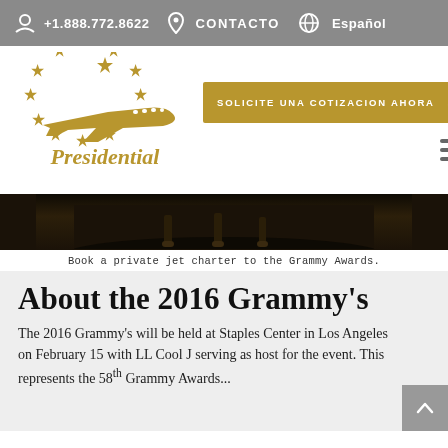+1.888.772.8622  CONTACTO  Español
[Figure (logo): Presidential Aviation logo with gold airplane and stars arranged in a circle, text 'Presidential' below in gold]
SOLICITE UNA COTIZACION AHORA
[Figure (photo): Dark hero image showing a private jet on a tarmac]
Book a private jet charter to the Grammy Awards.
About the 2016 Grammy's
The 2016 Grammy's will be held at Staples Center in Los Angeles on February 15 with LL Cool J serving as host for the event. This represents the 58th Grammy Awards...